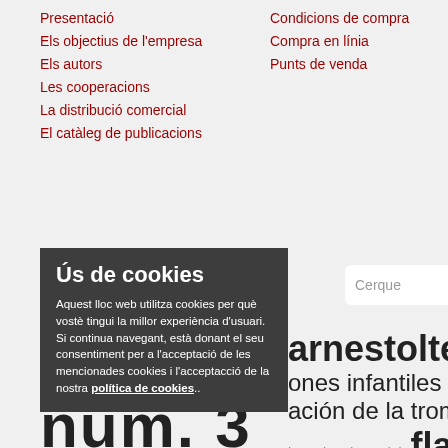Presentació
Els objectius de l'empresa
Els autors
Les cooperacions
La distribució comercial
El catàleg de publicacions
Condicions de compra
Compra en línia
Punts de venda
Cerque
Ús de cookies
Aquest lloc web utilitza cookies per què vostè tingui la millor experiència d'usuari. Si continua navegant, està donant el seu consentiment per a l'acceptació de les mencionades cookies i l'acceptacció de la nostra política de cookies..
arnestoltes  corda  El ti
ones infantiles  passeport
ación de la trompeta  pa
bonatina de Nadal  flauta  nadal
Da Camera 22: Tres danse
Palau insòlit  cantata na
és petits  orquestra i ca
núm. 3